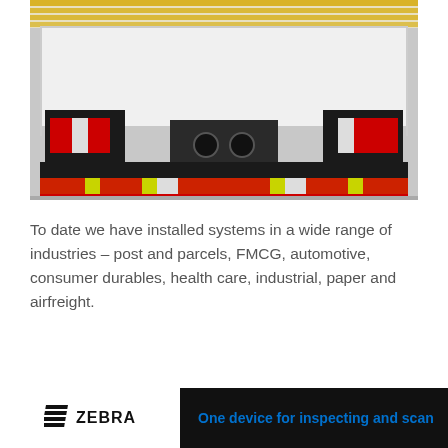[Figure (photo): Rear view of a truck or vehicle with red and yellow chevron/reflective striping on the bumper, taillights visible on both sides, black undercarriage components, and what appears to be a loading dock interior with yellow-striped bars at the top.]
To date we have installed systems in a wide range of industries – post and parcels, FMCG, automotive, consumer durables, health care, industrial, paper and airfreight.
WLN: Can you tell us about some of your major
[Figure (logo): Zebra Technologies advertisement banner. White box with Zebra logo (stylized striped icon) and bold text 'ZEBRA'. Blue text on black background: 'One device for inspecting and scan']